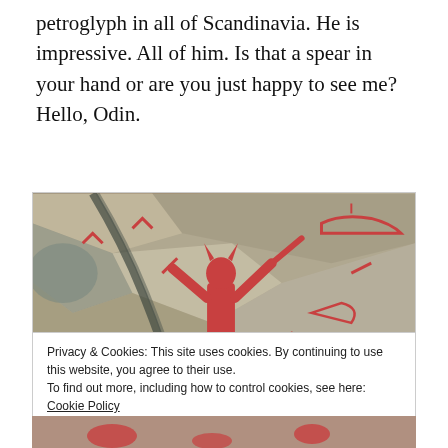petroglyph in all of Scandinavia. He is impressive. All of him. Is that a spear in your hand or are you just happy to see me? Hello, Odin.
[Figure (photo): A rock carving (petroglyph) painted in red showing a large human-like figure (Odin) with arms raised, holding a spear, surrounded by other petroglyphs including ships and symbols on a flat rock surface.]
Privacy & Cookies: This site uses cookies. By continuing to use this website, you agree to their use.
To find out more, including how to control cookies, see here: Cookie Policy
Close and accept
[Figure (photo): Bottom portion of another petroglyph photo showing red carved figures on rock.]